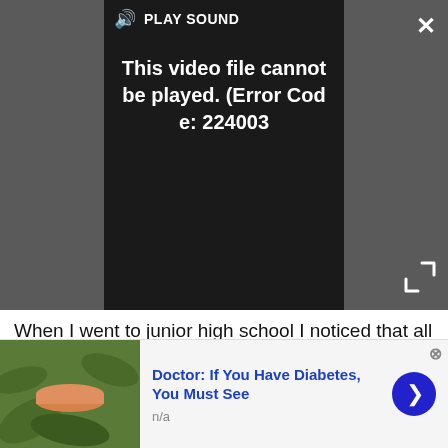[Figure (screenshot): Video player showing error message: 'This video file cannot be played. (Error Code: 224003)' with a PLAY SOUND button, close X button, and expand arrows on a dark background.]
When I went to junior high school I noticed that all the pretty girls I was attracted to weren't wearing Beatles shirts, but they were wearing Ozzy, Priest and Scorpions shirts. So I thought if I was ever going to get a chance to talk to these girls then I should find out what's going on with these other bands. I went to a used comic book shop and bought Blizzard Of Ozz on cassette and that's when I realised how cool Ozzy and heavy metal was.
[Figure (infographic): Advertisement banner: 'Doctor: If You Have Diabetes, You Must See' with image of a plant/bowl on left, 'n/a' text, and a blue arrow button on the right.]